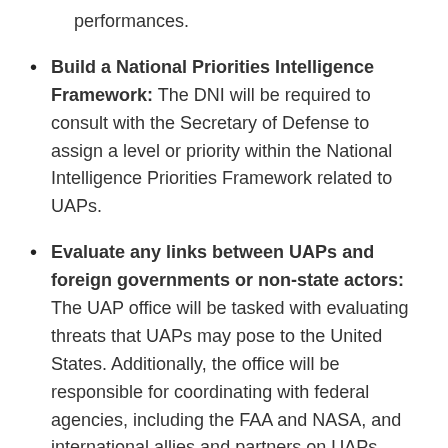related to UAP characteristics and performances.
Build a National Priorities Intelligence Framework: The DNI will be required to consult with the Secretary of Defense to assign a level or priority within the National Intelligence Priorities Framework related to UAPs.
Evaluate any links between UAPs and foreign governments or non-state actors: The UAP office will be tasked with evaluating threats that UAPs may pose to the United States. Additionally, the office will be responsible for coordinating with federal agencies, including the FAA and NASA, and international allies and partners on UAPs.